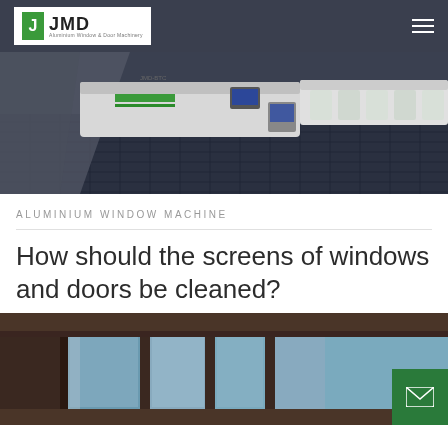JMD - Aluminium Window & Door Machinery
[Figure (photo): Industrial aluminium window/door machinery equipment shown from above on a dark grated surface, featuring white and green CNC machines]
ALUMINIUM WINDOW MACHINE
How should the screens of windows and doors be cleaned?
[Figure (photo): Close-up view of dark-framed aluminium windows/doors from inside a building, showing sky and exterior through the glass panels]